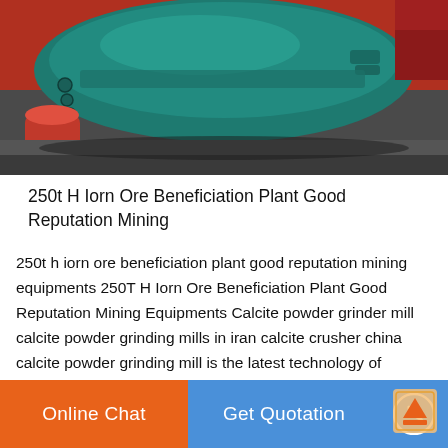[Figure (photo): Close-up photograph of industrial mining equipment parts, showing a teal/green-painted metal housing component with red machinery parts visible]
250t H Iorn Ore Beneficiation Plant Good Reputation Mining
250t h iorn ore beneficiation plant good reputation mining equipments 250T H Iorn Ore Beneficiation Plant Good Reputation Mining Equipments Calcite powder grinder mill calcite powder grinding mills in iran calcite crusher china calcite powder grinding mill is the latest technology of shanghai zenith in the calcite crushing plant the calcite granule is fed into jaw We are a professional
Online Chat   Get Quotation